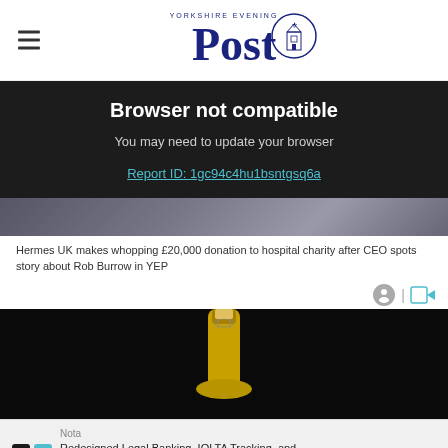Yorkshire Evening Post
Browser not compatible
You may need to update your browser
Report ID: 1gc94c4hu1bsntgsq6a
[Figure (photo): Photo strip showing people, partially visible at top]
Hermes UK makes whopping £20,000 donation to hospital charity after CEO spots story about Rob Burrow in YEP
[Figure (photo): Dark photo showing champagne bottle neck on black background]
Nota
Redesigned Legal Banking, IOLTA Tracking, and Business Checking for Law Firms in One Place